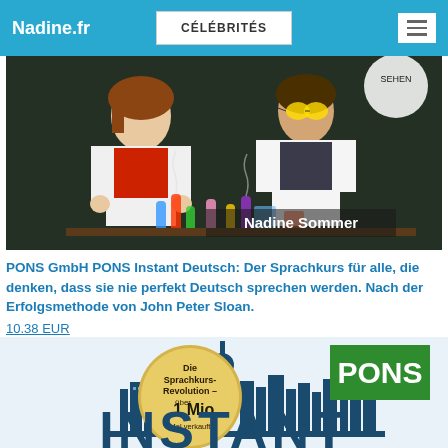Nadine.fr  CÉLÉBRITÉS
[Figure (photo): Two children in white lab coats doing science experiments with colorful lab equipment against a dark chalkboard background. Text overlay reads 'Nadine Sommer'.]
PONS GmbH PONS Instant Deutsch: Der Sprachkurs für alle, die denken, dass sie nie perfekt Deutsch sprechen werden. Nach der Erfolgsmethode von John Peter Sloan.
10.38 EUR
[Figure (photo): Book cover showing 'PONS Instant' with Berlin skyline silhouette, a gold circular badge reading 'Die Sprachkurs-Revolution – über 1 Mio. Mal verkauft' and a green PONS logo box. Large text 'INSTANT' at bottom.]